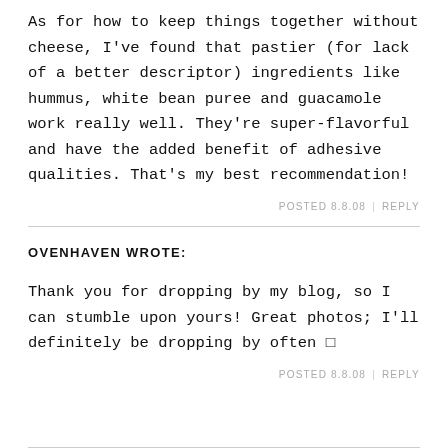As for how to keep things together without cheese, I've found that pastier (for lack of a better descriptor) ingredients like hummus, white bean puree and guacamole work really well. They're super-flavorful and have the added benefit of adhesive qualities. That's my best recommendation!
POSTED 8.8.08 | REPLY
OVENHAVEN WROTE:
Thank you for dropping by my blog, so I can stumble upon yours! Great photos; I'll definitely be dropping by often 🙂
POSTED 8.8.08 | REPLY